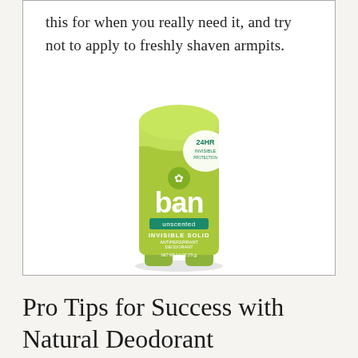this for when you really need it, and try not to apply to freshly shaven armpits.
[Figure (photo): Ban unscented invisible solid antiperspirant deodorant stick in lime green packaging with 24HR Invisible Protection label]
Pro Tips for Success with Natural Deodorant